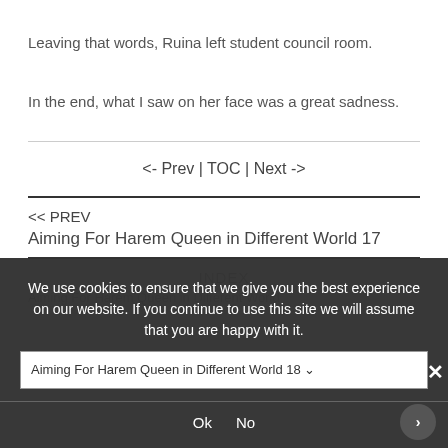Leaving that words, Ruina left student council room.
In the end,  what I saw on her face was a great sadness.
<- Prev | TOC | Next ->
<< PREV
Aiming For Harem Queen in Different World 17
INDEX
Aiming For Harem Queen in Different World
Aiming For Harem Queen in Different World 18
We use cookies to ensure that we give you the best experience on our website. If you continue to use this site we will assume that you are happy with it.
Ok  No
NEXT >